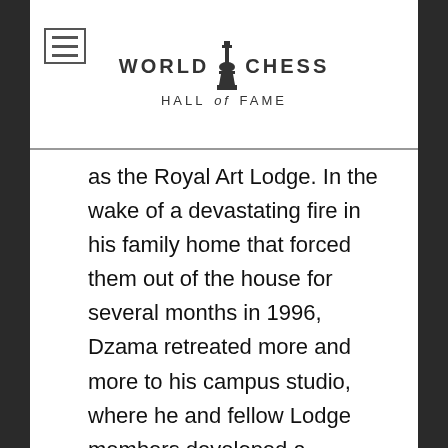WORLD CHESS HALL OF FAME
as the Royal Art Lodge. In the wake of a devastating fire in his family home that forced them out of the house for several months in 1996, Dzama retreated more and more to his campus studio, where he and fellow Lodge members developed a process of collaborative drawing that demonstrated a strong collectivist ideology in the spirit of earlier movements like Fluxus. Eschewing personal gain, the communal methodology practiced by the Lodge (drawings were dated but not